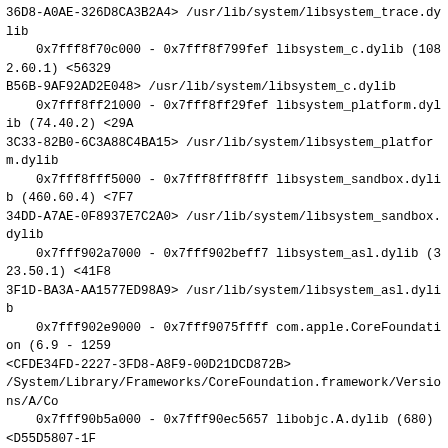36D8-A0AE-326D8CA3B2A4> /usr/lib/system/libsystem_trace.dylib
    0x7fff8f70c000 - 0x7fff8f799fef libsystem_c.dylib (1082.60.1) <56329B56B-9AF92AD2E048> /usr/lib/system/libsystem_c.dylib
    0x7fff8ff21000 - 0x7fff8ff29fef libsystem_platform.dylib (74.40.2) <29A3C33-82B0-6C3A88C4BA15> /usr/lib/system/libsystem_platform.dylib
    0x7fff8fff5000 - 0x7fff8fff8fff libsystem_sandbox.dylib (460.60.4) <7F734DD-A7AE-0F8937E7C2A0> /usr/lib/system/libsystem_sandbox.dylib
    0x7fff902a7000 - 0x7fff902beff7 libsystem_asl.dylib (323.50.1) <41F83F1D-BA3A-AA1577ED98A9> /usr/lib/system/libsystem_asl.dylib
    0x7fff902e9000 - 0x7fff9075ffff com.apple.CoreFoundation (6.9 - 1259<CFDE34FD-2227-3FD8-A8F9-00D21DCD872B>
/System/Library/Frameworks/CoreFoundation.framework/Versions/A/Co
    0x7fff90b5a000 - 0x7fff90ec5657 libobjc.A.dylib (680) <D55D5807-1F44D7AFE68C27> /usr/lib/libobjc.A.dylib
    0x7fff9445f000 - 0x7fff9446aff7 libcommonCrypto.dylib (60075.50.1) <BA87-39CD-9590-CB05F35B5A8A> /usr/lib/system/libcommonCrypto.d
    0x7fff9446b000 - 0x7fff94495ff7 libc++abi.dylib (307.4) <D24E06BF-6BD0C-11C42BA4D8E8> /usr/lib/libc++abi.dylib
    0x7fff95f3c000 - 0x7fff95f3cff7 libkeymgr.dylib (28) <8371CE54-5FDDE98C761B6FE0> /usr/lib/system/libkeymgr.dylib
    0x7fff960af000 - 0x7fff960f5ff7 libauto.dylib (186) <999E610F-41FC-35EC049B65DFB> /usr/lib/libauto.dylib
    0x7fff977f2000 - 0x7fff977fbff7 libsystem_pthread.dylib (138.10.4) <83F82-BAF6-1B3ED639CC2A> /usr/lib/system/libsystem_pthread.dylib
    0x7fff98817000 - 0x7fff98833ff7 libsystem_malloc.dylib (67.40.1) <5734C6-8B13-4E6313127679> /usr/lib/system/libsystem_malloc.dylib